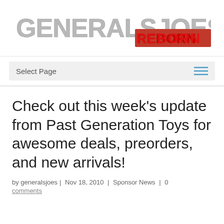GENERALSJOES.COM REBORN
Select Page
Check out this week's update from Past Generation Toys for awesome deals, preorders, and new arrivals!
by generalsjoes | Nov 18, 2010 | Sponsor News | 0 comments